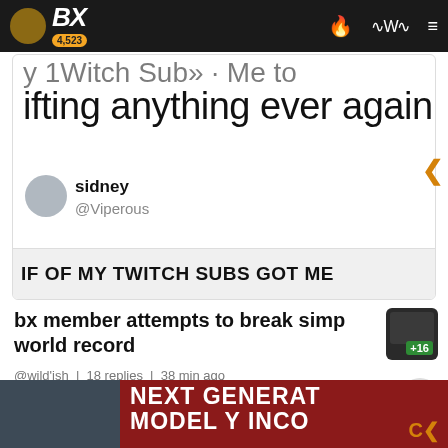BX | 4,523
[Figure (screenshot): Screenshot of a social media or forum post showing partial text 'ifting anything ever again', user 'sidney @Viperous', and bottom bar text 'IF OF MY TWITCH SUBS GOT ME']
bx member attempts to break simp world record
@wild'ish | 18 replies | 38 min ago
4 | by SketchTurner | 23 hr
[Figure (screenshot): Bottom preview banner showing 'NEXT GENERAT' and 'MODEL Y INCO' text on dark red background]